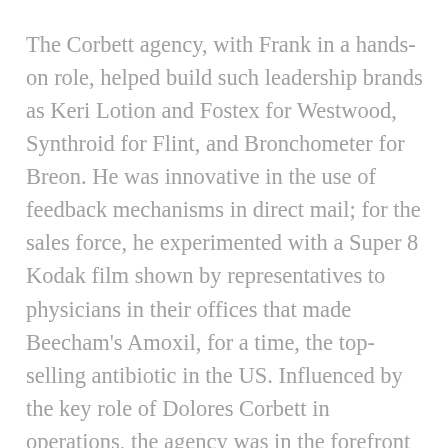The Corbett agency, with Frank in a hands-on role, helped build such leadership brands as Keri Lotion and Fostex for Westwood, Synthroid for Flint, and Bronchometer for Breon. He was innovative in the use of feedback mechanisms in direct mail; for the sales force, he experimented with a Super 8 Kodak film shown by representatives to physicians in their offices that made Beecham's Amoxil, for a time, the top-selling antibiotic in the US. Influenced by the key role of Dolores Corbett in operations, the agency was in the forefront in advancing women to positions of authority. In a memorable first in the history of our business, Frank J. Corbett, Inc. was the first medical agency to be acquired by a large consumer